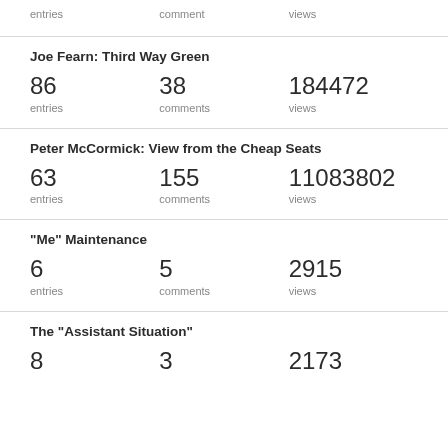entries | comment | views
Joe Fearn: Third Way Green
86 entries | 38 comments | 184472 views
Peter McCormick: View from the Cheap Seats
63 entries | 155 comments | 11083802 views
"Me" Maintenance
6 entries | 5 comments | 2915 views
The "Assistant Situation"
8 | 3 | 2173